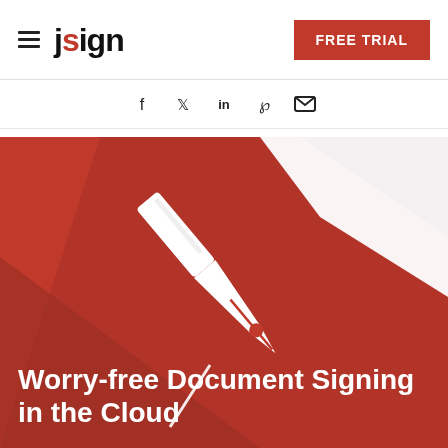[Figure (logo): jsign logo with hamburger menu icon and red pen dot on i]
[Figure (other): FREE TRIAL red button in header]
[Figure (other): Social media icons row: facebook, twitter, linkedin, pinterest, email]
[Figure (illustration): Red hero banner with white fountain pen nib illustration writing on paper, diagonal shadow overlay]
Worry-free Document Signing in the Cloud